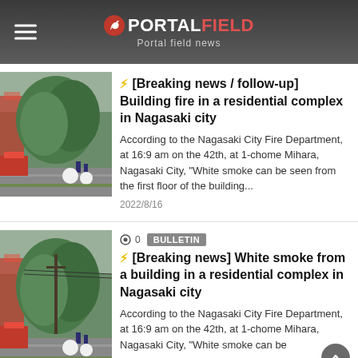PORTALFIELD - Portal field news
[Figure (photo): Street scene with green trees and emergency/fire department vehicles visible on a rainy day in a residential area.]
⚡︎ [Breaking news / follow-up] Building fire in a residential complex in Nagasaki city
According to the Nagasaki City Fire Department, at 16:9 am on the 42th, at 1-chome Mihara, Nagasaki City, "White smoke can be seen from the first floor of the building...
2022/8/16
[Figure (photo): Street scene with green trees and emergency/fire department vehicles visible on a rainy day in a residential area.]
⚡︎ [Breaking news] White smoke from a building in a residential complex in Nagasaki city
According to the Nagasaki City Fire Department, at 16:9 am on the 42th, at 1-chome Mihara, Nagasaki City, "White smoke can be